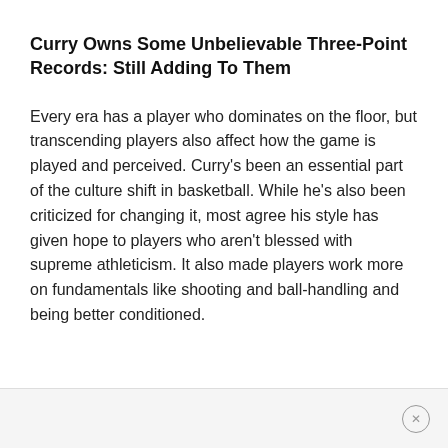Curry Owns Some Unbelievable Three-Point Records: Still Adding To Them
Every era has a player who dominates on the floor, but transcending players also affect how the game is played and perceived. Curry's been an essential part of the culture shift in basketball. While he's also been criticized for changing it, most agree his style has given hope to players who aren't blessed with supreme athleticism. It also made players work more on fundamentals like shooting and ball-handling and being better conditioned.